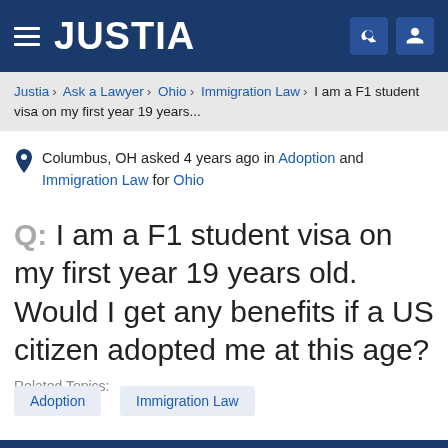JUSTIA
Justia > Ask a Lawyer > Ohio > Immigration Law > I am a F1 student visa on my first year 19 years...
Columbus, OH asked 4 years ago in Adoption and Immigration Law for Ohio
Q: I am a F1 student visa on my first year 19 years old. Would I get any benefits if a US citizen adopted me at this age?
Related Topics:
Adoption
Immigration Law